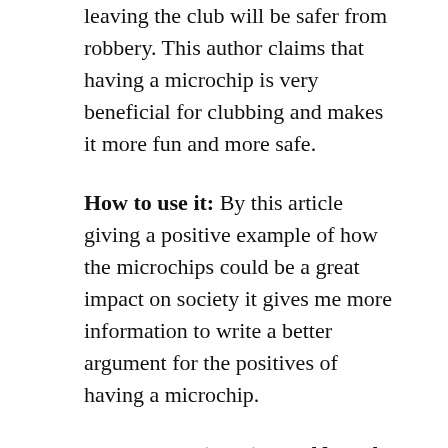leaving the club will be safer from robbery. This author claims that having a microchip is very beneficial for clubbing and makes it more fun and more safe.
How to use it: By this article giving a positive example of how the microchips could be a great impact on society it gives me more information to write a better argument for the positives of having a microchip.
4.Images, A. (2017). Would you let your boss microchip you?. [online] Marketplace.org.Available at: https://www.marketplace.org/2017/07/26/tech/sitting-down-three-square-market-microchips-its-